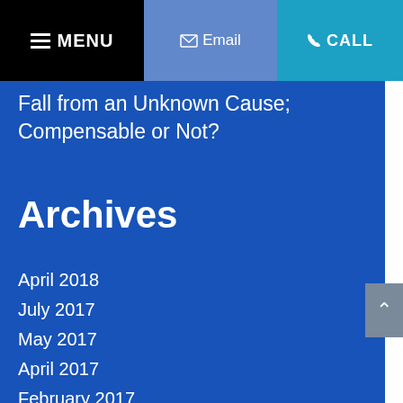MENU | Email | CALL
Fall from an Unknown Cause; Compensable or Not?
Archives
April 2018
July 2017
May 2017
April 2017
February 2017
January 2017
November 2016
October 2016